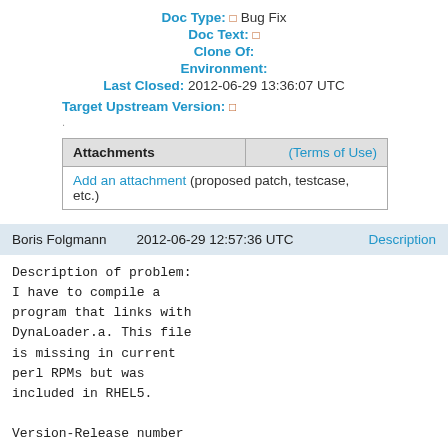Doc Type: □ Bug Fix
Doc Text: □
Clone Of:
Environment:
Last Closed: 2012-06-29 13:36:07 UTC
Target Upstream Version: □
.
| Attachments | (Terms of Use) |
| --- | --- |
| Add an attachment (proposed patch, testcase, etc.) |  |
Boris Folgmann   2012-06-29 12:57:36 UTC   Description
Description of problem:
I have to compile a
program that links with
DynaLoader.a. This file
is missing in current
perl RPMs but was
included in RHEL5.

Version-Release number
of selected component